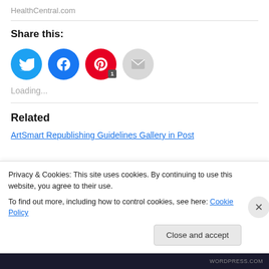HealthCentral.com
Share this:
[Figure (other): Social sharing buttons: Twitter (blue circle), Facebook (blue circle), Pinterest (red circle with badge '1'), Email (gray circle)]
Loading...
Related
ArtSmart Republishing Guidelines Gallery in Post
Privacy & Cookies: This site uses cookies. By continuing to use this website, you agree to their use. To find out more, including how to control cookies, see here: Cookie Policy
Close and accept